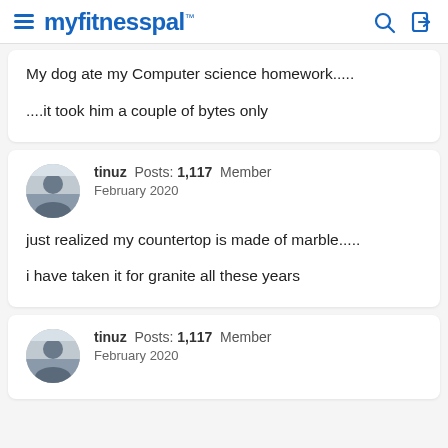myfitnesspal
My dog ate my Computer science homework.....

....it took him a couple of bytes only
tinuz  Posts: 1,117  Member
February 2020

just realized my countertop is made of marble.....

i have taken it for granite all these years
tinuz  Posts: 1,117  Member
February 2020